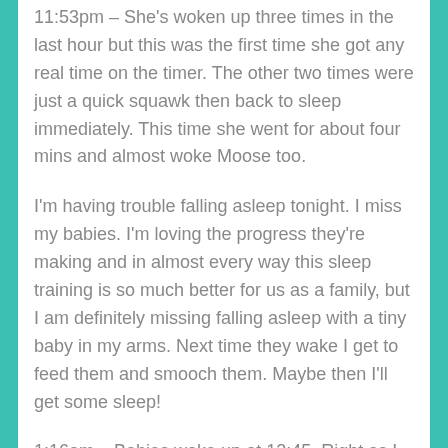11:53pm – She's woken up three times in the last hour but this was the first time she got any real time on the timer. The other two times were just a quick squawk then back to sleep immediately. This time she went for about four mins and almost woke Moose too.
I'm having trouble falling asleep tonight. I miss my babies. I'm loving the progress they're making and in almost every way this sleep training is so much better for us as a family, but I am definitely missing falling asleep with a tiny baby in my arms. Next time they wake I get to feed them and smooch them. Maybe then I'll get some sleep!
1:16am – Babies woke up at 12:45. Right as I was getting to sleep, of course. Got them fed and in bed by 1:15. So far no crying!